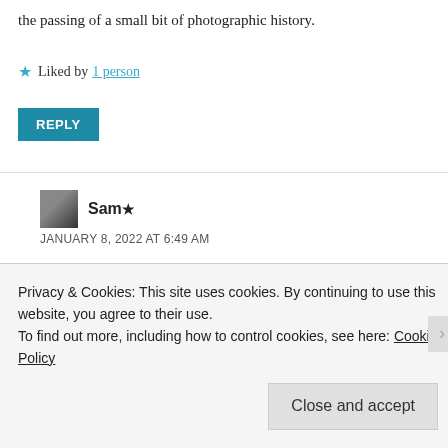the passing of a small bit of photographic history.
★ Liked by 1 person
REPLY
Sam ★
JANUARY 8, 2022 AT 6:49 AM
Hi and I feel your pain! You're right usable old cameras are definitely beginning to show signs of aging that happens to electronics. The answer to your question
Privacy & Cookies: This site uses cookies. By continuing to use this website, you agree to their use.
To find out more, including how to control cookies, see here: Cookie Policy
Close and accept